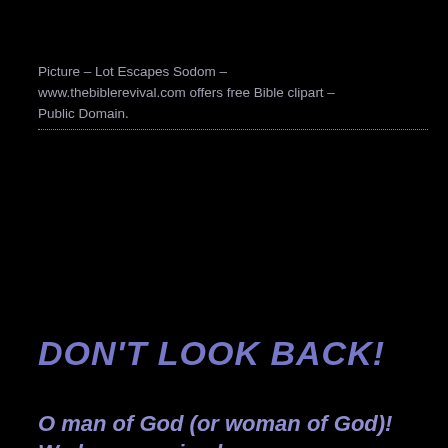Picture – Lot Escapes Sodom – www.thebiblerevival.com offers free Bible clipart – Public Domain.
DON'T LOOK BACK!
O man of God (or woman of God)! We have received